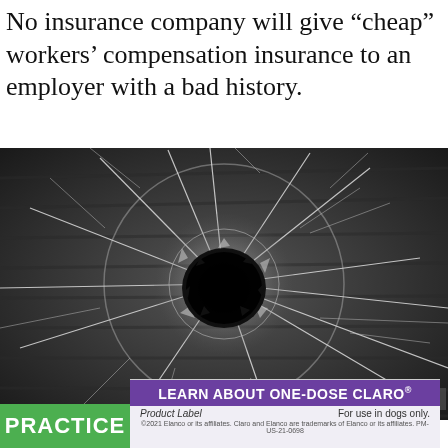No insurance company will give “cheap” workers’ compensation insurance to an employer with a bad history.
[Figure (photo): Black and white close-up photograph of a bullet hole through glass, with radiating cracks spreading outward from the central hole.]
[Figure (screenshot): Advertisement banner for Elanco ONE-DOSE CLARO product. Purple header reads 'LEARN ABOUT ONE-DOSE CLARO®'. Below: 'Product Label' on left, 'For use in dogs only.' on right. Fine print: '©2021 Elanco or its affiliates. Claro and Elanco are trademarks of Elanco or its affiliates. PM-US-21-0698']
PRACTICE